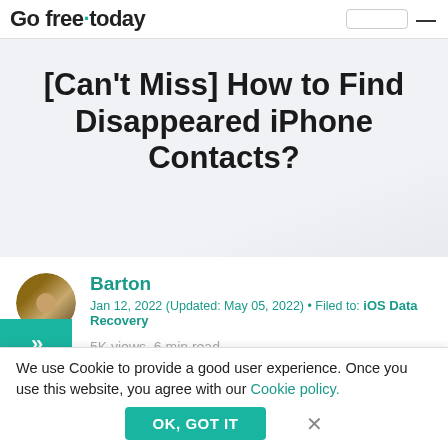Go Free Today
[Can't Miss] How to Find Disappeared iPhone Contacts?
Barton
Jan 12, 2022 (Updated: May 05, 2022) • Filed to: iOS Data Recovery
5K views, 6 min read
We use Cookie to provide a good user experience. Once you use this website, you agree with our Cookie policy.
OK, GOT IT